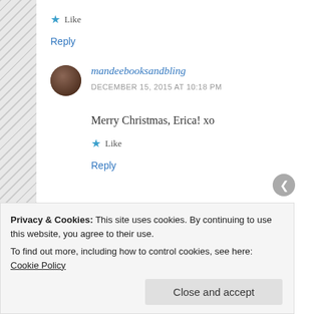★ Like
Reply
mandeebooksandbling
DECEMBER 15, 2015 AT 10:18 PM
Merry Christmas, Erica! xo
★ Like
Reply
Privacy & Cookies: This site uses cookies. By continuing to use this website, you agree to their use.
To find out more, including how to control cookies, see here: Cookie Policy
Close and accept